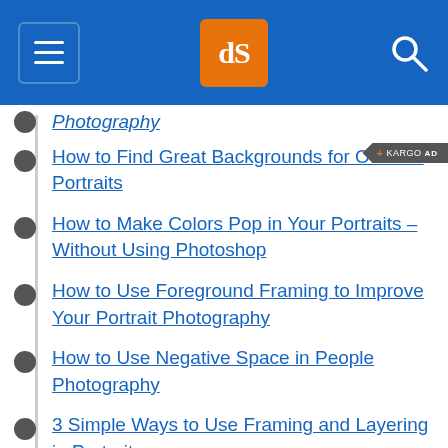dPS (digital Photography School) header with hamburger menu and search icon
Photography (partial, cut off at top)
How to Find Great Backgrounds for Outdoor Portraits
How to Make Colors Pop in Your Portraits – Without Using Photoshop
How to Use Foreground Framing to Improve Your Portrait Photography
How to Use Negative Space in People Photography
3 Simple Ways to Use Framing and Layering in Portraits
Is Portrait Formatting always best for Portraits?